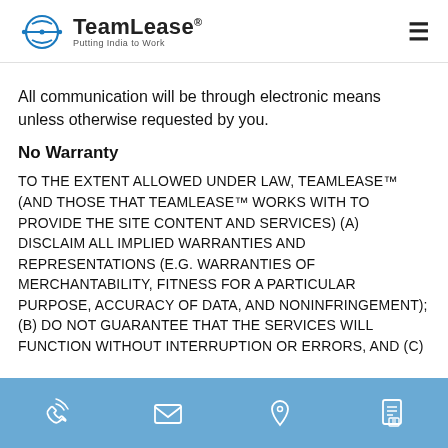TeamLease® — Putting India to Work
All communication will be through electronic means unless otherwise requested by you.
No Warranty
TO THE EXTENT ALLOWED UNDER LAW, TEAMLEASE™ (AND THOSE THAT TEAMLEASE™ WORKS WITH TO PROVIDE THE SITE CONTENT AND SERVICES) (A) DISCLAIM ALL IMPLIED WARRANTIES AND REPRESENTATIONS (E.G. WARRANTIES OF MERCHANTABILITY, FITNESS FOR A PARTICULAR PURPOSE, ACCURACY OF DATA, AND NONINFRINGEMENT); (B) DO NOT GUARANTEE THAT THE SERVICES WILL FUNCTION WITHOUT INTERRUPTION OR ERRORS, AND (C)
Footer icons: phone, email, location, document